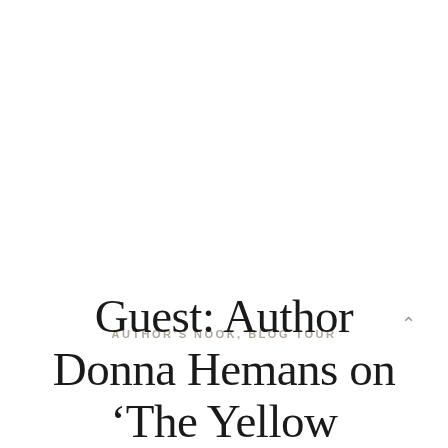AUTHOR'S NOOK, BLOG TOUR
Guest: Author Donna Hemans on ‘The Yellow